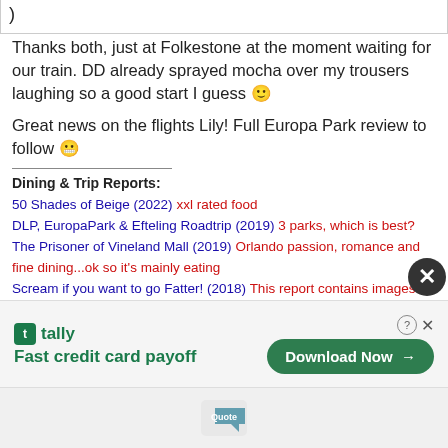)
Thanks both, just at Folkestone at the moment waiting for our train. DD already sprayed mocha over my trousers laughing so a good start I guess 🙂
Great news on the flights Lily! Full Europa Park review to follow 😬
Dining & Trip Reports:
50 Shades of Beige (2022) xxl rated food
DLP, EuropaPark & Efteling Roadtrip (2019) 3 parks, which is best?
The Prisoner of Vineland Mall (2019) Orlando passion, romance and fine dining...ok so it's mainly eating
Scream if you want to go Fatter! (2018) This report contains images some dieters may find distressing!
The 12 Days of Easter (2015) Rumoured to contain up to one good joke. Let me know if you find it
[Figure (screenshot): Advertisement banner for Tally app - 'Fast credit card payoff' with Download Now button]